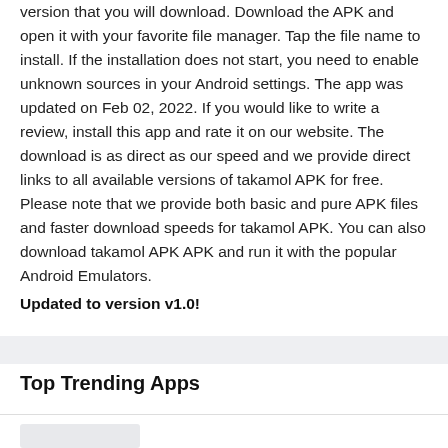version that you will download. Download the APK and open it with your favorite file manager. Tap the file name to install. If the installation does not start, you need to enable unknown sources in your Android settings. The app was updated on Feb 02, 2022. If you would like to write a review, install this app and rate it on our website. The download is as direct as our speed and we provide direct links to all available versions of takamol APK for free. Please note that we provide both basic and pure APK files and faster download speeds for takamol APK. You can also download takamol APK APK and run it with the popular Android Emulators.
Updated to version v1.0!
Top Trending Apps